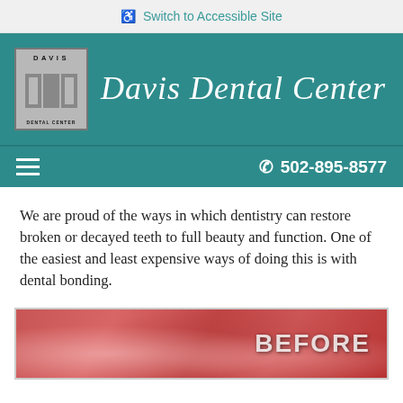Switch to Accessible Site
[Figure (logo): Davis Dental Center logo with square emblem and script text]
☎ 502-895-8577
We are proud of the ways in which dentistry can restore broken or decayed teeth to full beauty and function. One of the easiest and least expensive ways of doing this is with dental bonding.
[Figure (photo): Before photo showing dental bonding procedure — close-up of gum and teeth labeled BEFORE]